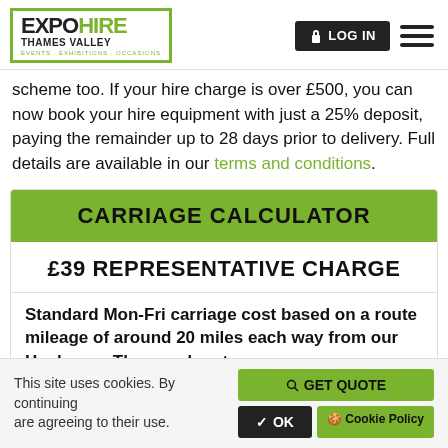EXPO HIRE THAMES VALLEY — EVENTS · EXHIBITIONS · OCCASIONS | LOG IN | Menu
scheme too. If your hire charge is over £500, you can now book your hire equipment with just a 25% deposit, paying the remainder up to 28 days prior to delivery. Full details are available in our terms and conditions.
CARRIAGE CALCULATOR
£39 REPRESENTATIVE CHARGE
Standard Mon-Fri carriage cost based on a route mileage of around 20 miles each way from our Henley-on-Thames depot
This site uses cookies. By continuing are agreeing to their use. ✓ OK 🍪 Cookie Policy | GET QUOTE